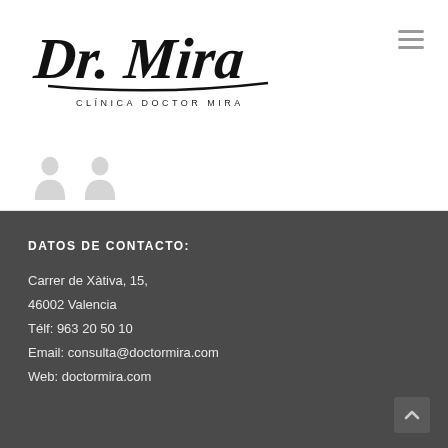[Figure (logo): Clínica Doctor Mira handwritten script logo with text 'CLÍNICA DOCTOR MIRA' below in spaced capitals]
[Figure (illustration): Two grey silhouette person icons partially visible at bottom of header area]
DATOS DE CONTACTO:
Carrer de Xàtiva, 15,
46002 Valencia
Télf: 963 20 50 10
Email: consulta@doctormira.com
Web: doctormira.com